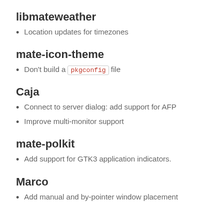alsa: Fix fade
libmateweather
Location updates for timezones
mate-icon-theme
Don't build a pkgconfig file
Caja
Connect to server dialog: add support for AFP
Improve multi-monitor support
mate-polkit
Add support for GTK3 application indicators.
Marco
Add manual and by-pointer window placement